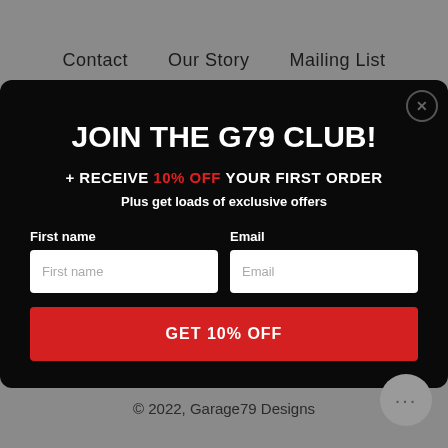Contact   Our Story   Mailing List
JOIN THE G79 CLUB!
+ RECEIVE 10% OFF YOUR FIRST ORDER
Plus get loads of exclusive offers
First name | Email (form fields)
GET 10% OFF
© 2022, Garage79 Designs